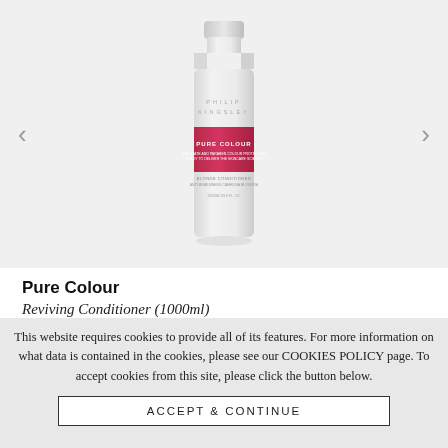[Figure (photo): Philip Kingsley Pure Colour Reviving Conditioner 1000ml bottle with pink/red label band, shown on light grey background with left and right navigation arrows]
Pure Colour
Reviving Conditioner (1000ml)
This website requires cookies to provide all of its features. For more information on what data is contained in the cookies, please see our COOKIES POLICY page. To accept cookies from this site, please click the button below.
ACCEPT & CONTINUE